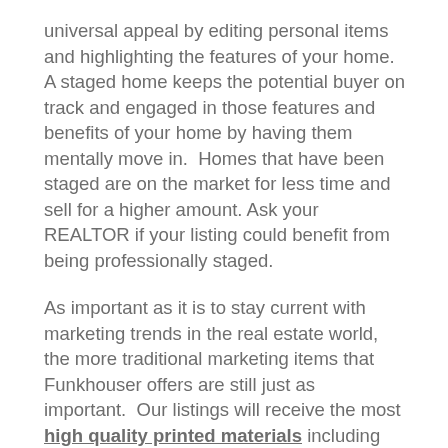universal appeal by editing personal items and highlighting the features of your home.  A staged home keeps the potential buyer on track and engaged in those features and benefits of your home by having them mentally move in.  Homes that have been staged are on the market for less time and sell for a higher amount. Ask your REALTOR if your listing could benefit from being professionally staged.
As important as it is to stay current with marketing trends in the real estate world, the more traditional marketing items that Funkhouser offers are still just as important.  Our listings will receive the most high quality printed materials including flyers and postcards.  Our biannual Funkhouser Report gets printed and mailed out as well as distributed throughout the valley.  In the report we focus on what is new in real estate and feature our exceptional listings.